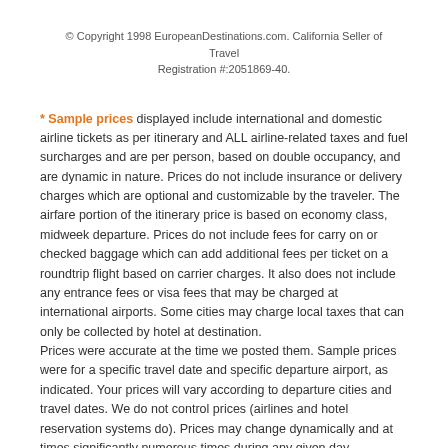© Copyright 1998 EuropeanDestinations.com. California Seller of Travel Registration #:2051869-40.
* Sample prices displayed include international and domestic airline tickets as per itinerary and ALL airline-related taxes and fuel surcharges and are per person, based on double occupancy, and are dynamic in nature. Prices do not include insurance or delivery charges which are optional and customizable by the traveler. The airfare portion of the itinerary price is based on economy class, midweek departure. Prices do not include fees for carry on or checked baggage which can add additional fees per ticket on a roundtrip flight based on carrier charges. It also does not include any entrance fees or visa fees that may be charged at international airports. Some cities may charge local taxes that can only be collected by hotel at destination.
Prices were accurate at the time we posted them. Sample prices were for a specific travel date and specific departure airport, as indicated. Your prices will vary according to departure cities and travel dates. We do not control prices (airlines and hotel reservation systems do). Prices may change dynamically and at times significantly numerous times during any given day.